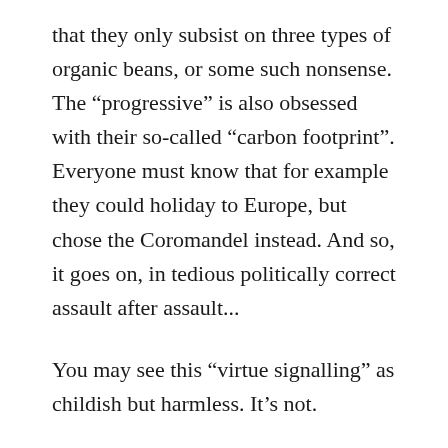that they only subsist on three types of organic beans, or some such nonsense. The “progressive” is also obsessed with their so-called “carbon footprint”. Everyone must know that for example they could holiday to Europe, but chose the Coromandel instead. And so, it goes on, in tedious politically correct assault after assault...
You may see this “virtue signalling” as childish but harmless. It’s not.
The problem with lecturing the world about your sexuality, or your diet, or your